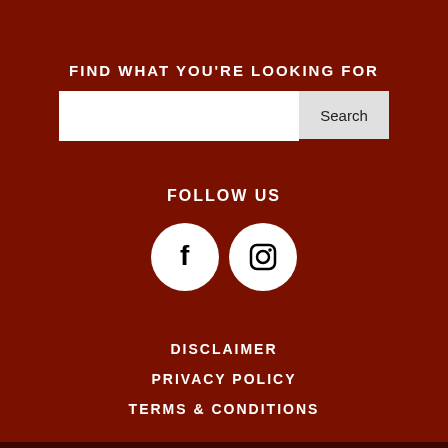FIND WHAT YOU'RE LOOKING FOR
[Figure (screenshot): Search bar with white input field and gray Search button]
FOLLOW US
[Figure (illustration): Two circular social media icons: Facebook (f) and Instagram (camera icon)]
DISCLAIMER
PRIVACY POLICY
TERMS & CONDITIONS